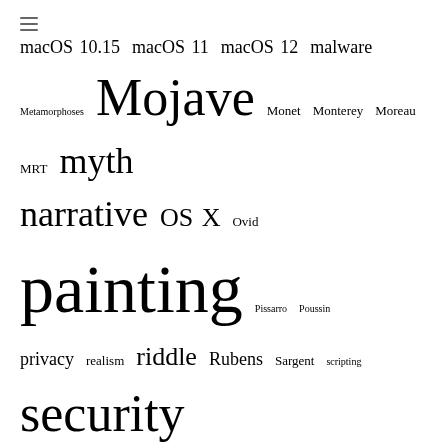[Figure (infographic): Tag cloud containing words of varying sizes related to macOS, security, art terms, and software. Words include: macOS 10.15, macOS 11, macOS 12, malware, Metamorphoses, Mojave, Monet, Monterey, Moreau, MRT, myth, narrative, OS X, Ovid, painting, Pissarro, Poussin, privacy, realism, riddle, Rubens, Sargent, scripting, security, Sierra, SilentKnight, SSD, Swift, symbolism, Time Machine, Turner, update, upgrade, xattr, Xcode, XProtect]
Statistics
12,422,752 hits